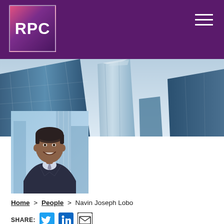[Figure (logo): RPC law firm logo — white text 'RPC' on purple/pink gradient square background, within a dark purple header bar with hamburger menu icon]
[Figure (photo): Upward-angle photo of modern glass skyscraper buildings against a blue sky banner]
[Figure (photo): Professional headshot photo of Navin Joseph Lobo, a man in a dark suit smiling, urban background]
Home > People > Navin Joseph Lobo
SHARE: